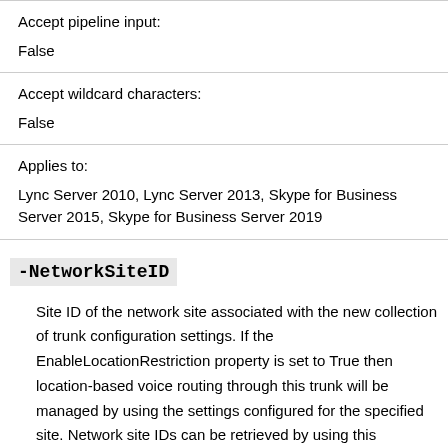| Accept pipeline input: | False |
| Accept wildcard characters: | False |
| Applies to: | Lync Server 2010, Lync Server 2013, Skype for Business Server 2015, Skype for Business Server 2019 |
-NetworkSiteID
Site ID of the network site associated with the new collection of trunk configuration settings. If the EnableLocationRestriction property is set to True then location-based voice routing through this trunk will be managed by using the settings configured for the specified site. Network site IDs can be retrieved by using this command: